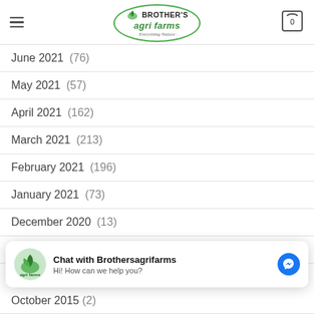Brother's Agri Farms — Everything Nature
June 2021 (76)
May 2021 (57)
April 2021 (162)
March 2021 (213)
February 2021 (196)
January 2021 (73)
December 2020 (13)
November 2020 (2)
[Figure (screenshot): Chat with Brothersagrifarms popup: Hi! How can we help you?]
October 2015 (2)